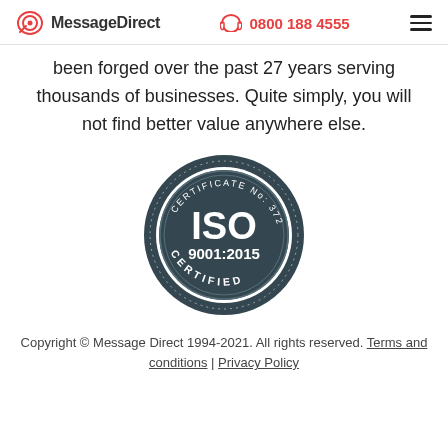MessageDirect | 0800 188 4555
been forged over the past 27 years serving thousands of businesses. Quite simply, you will not find better value anywhere else.
[Figure (logo): ISO 9001:2015 Certified badge with certificate number 372142021]
Copyright © Message Direct 1994-2021. All rights reserved. Terms and conditions | Privacy Policy